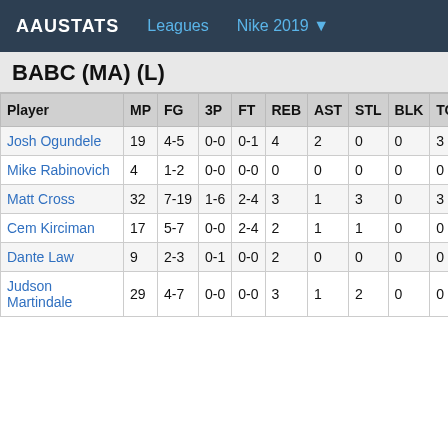AAUSTATS  Leagues  Nike 2019 ▼
BABC (MA) (L)
| Player | MP | FG | 3P | FT | REB | AST | STL | BLK | TO | PF |
| --- | --- | --- | --- | --- | --- | --- | --- | --- | --- | --- |
| Josh Ogundele | 19 | 4-5 | 0-0 | 0-1 | 4 | 2 | 0 | 0 | 3 | 4 |
| Mike Rabinovich | 4 | 1-2 | 0-0 | 0-0 | 0 | 0 | 0 | 0 | 0 | 2 |
| Matt Cross | 32 | 7-19 | 1-6 | 2-4 | 3 | 1 | 3 | 0 | 3 | 1 |
| Cem Kirciman | 17 | 5-7 | 0-0 | 2-4 | 2 | 1 | 1 | 0 | 0 | 2 |
| Dante Law | 9 | 2-3 | 0-1 | 0-0 | 2 | 0 | 0 | 0 | 0 | 0 |
| Judson Martindale | 29 | 4-7 | 0-0 | 0-0 | 3 | 1 | 2 | 0 | 0 | 0 |